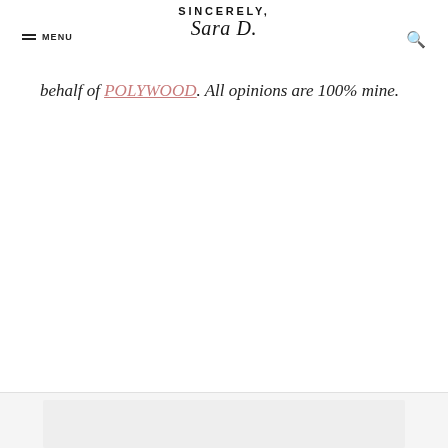MENU | SINCERELY, Sara D. | [search icon]
behalf of POLYWOOD. All opinions are 100% mine.